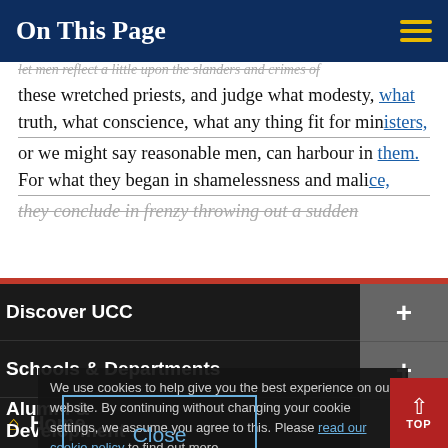On This Page
let men reflect a little upon the slanders and crimes of these wretched priests, and judge what modesty, what truth, what conscience, what any thing fit for ministers, or we might say reasonable men, can harbour in them. For what they began in shamelessness and malice, they conclude in frenzy throwing out a sudden
Discover UCC
Schools & Departments
We use cookies to help give you the best experience on our website. By continuing without changing your cookie settings, we assume you agree to this. Please read our cookie policy to find out more.
Business & Enterprise
Alumni & Development
Home